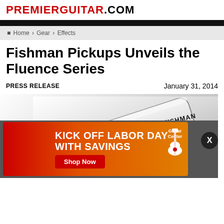PremierGuitar.com
Home › Gear › Effects
Fishman Pickups Unveils the Fluence Series
PRESS RELEASE	January 31, 2014
[Figure (photo): Fishman Fluence Series pickup in white with black accents, showing cylindrical pole pieces and Fishman branding on the pickup housing]
[Figure (infographic): Guitar Center advertisement banner: 'KICK OFF LABOR DAY WITH SAVINGS' with Shop Now button and Guitar Center logo on red-to-orange gradient background]